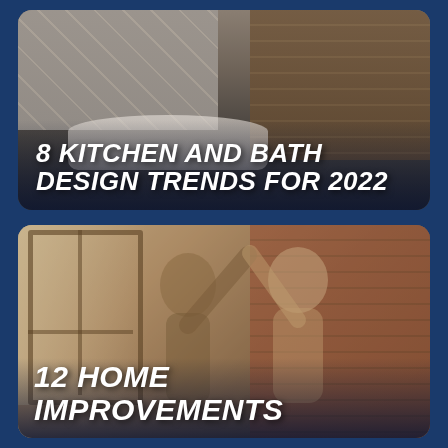[Figure (photo): Luxury bathroom interior with mosaic tile wall on the left, wood panel wall on the right, and a freestanding bathtub in the center. Dark atmospheric lighting.]
8 KITCHEN AND BATH DESIGN TRENDS FOR 2022
[Figure (photo): An older couple dancing joyfully in what appears to be a kitchen or living space with large windows on the left and a brick wall on the right. The image has a warm sepia tone.]
12 HOME IMPROVEMENTS